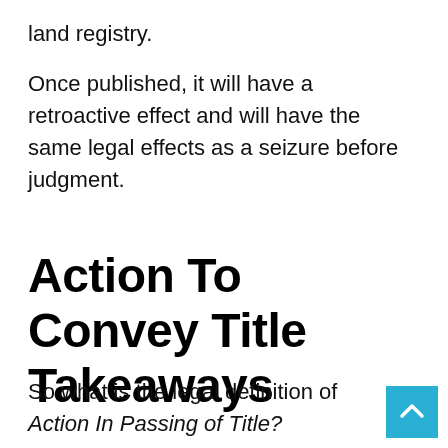land registry.
Once published, it will have a retroactive effect and will have the same legal effects as a seizure before judgment.
Action To Convey Title Takeaways
So what is the legal definition of Action In Passing of Title?